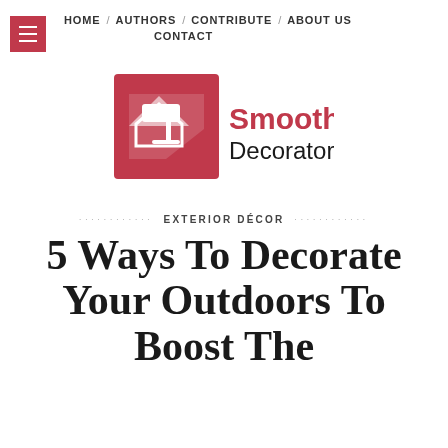HOME / AUTHORS / CONTRIBUTE / ABOUT US / CONTACT
[Figure (logo): Smooth Decorator logo — red square with white paint roller icon, beside bold red 'Smooth' and black 'Decorator' text]
EXTERIOR DÉCOR
5 Ways To Decorate Your Outdoors To Boost The